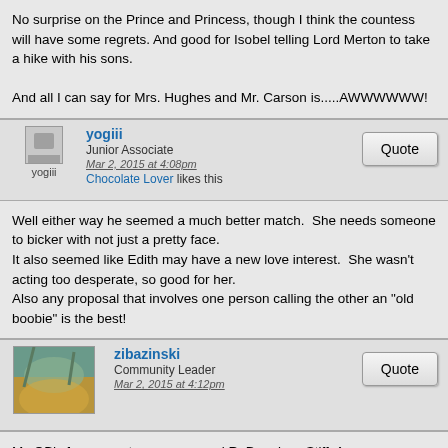No surprise on the Prince and Princess, though I think the countess will have some regrets. And good for Isobel telling Lord Merton to take a hike with his sons.

And all I can say for Mrs. Hughes and Mr. Carson is.....AWWWWWW!
yogiii
Junior Associate
Mar 2, 2015 at 4:08pm
Chocolate Lover likes this
Well either way he seemed a much better match.  She needs someone to bicker with not just a pretty face.
It also seemed like Edith may have a new love interest.  She wasn't acting too desperate, so good for her.
Also any proposal that involves one person calling the other an "old boobie" is the best!
zibazinski
Community Leader
Mar 2, 2015 at 4:12pm
My OB's former partner was named R. Douglass Stiff. Any guesses as to what the R stands for? 😜